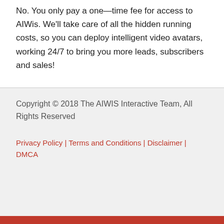No. You only pay a one—time fee for access to AIWis. We'll take care of all the hidden running costs, so you can deploy intelligent video avatars, working 24/7 to bring you more leads, subscribers and sales!
Copyright © 2018 The AIWIS Interactive Team, All Rights Reserved
Privacy Policy | Terms and Conditions | Disclaimer | DMCA